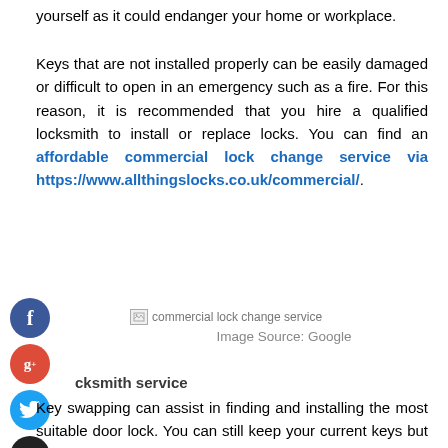yourself as it could endanger your home or workplace.
Keys that are not installed properly can be easily damaged or difficult to open in an emergency such as a fire. For this reason, it is recommended that you hire a qualified locksmith to install or replace locks. You can find an affordable commercial lock change service via https://www.allthingslocks.co.uk/commercial/.
[Figure (other): Social media share buttons: Facebook (blue circle), Google+ (red circle), Twitter (blue circle), plus/add button (dark circle). Beside them: broken image placeholder labeled 'commercial lock change service' and text 'Image Source: Google'.]
cksmith service
Key swapping can assist in finding and installing the most suitable door lock. You can still keep your current keys but replace the keys with the help of a competent locksmith.